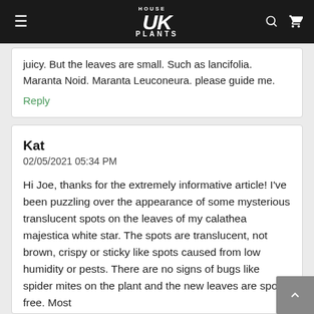HOUSE UK PLANTS
juicy. But the leaves are small. Such as lancifolia. Maranta Noid. Maranta Leuconeura. please guide me.
Reply
Kat
02/05/2021 05:34 PM
Hi Joe, thanks for the extremely informative article! I've been puzzling over the appearance of some mysterious translucent spots on the leaves of my calathea majestica white star. The spots are translucent, not brown, crispy or sticky like spots caused from low humidity or pests. There are no signs of bugs like spider mites on the plant and the new leaves are spot free. Most